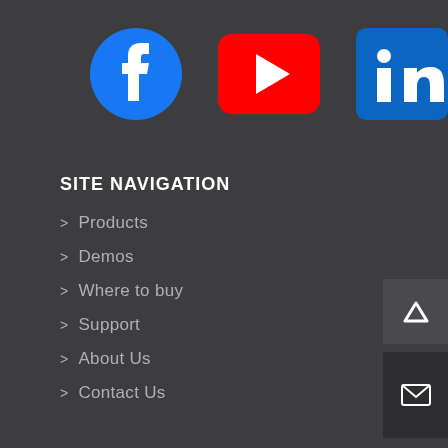[Figure (logo): Facebook logo - blue circle with white 'f' letter]
[Figure (logo): YouTube logo - red rounded rectangle with white play triangle]
[Figure (logo): LinkedIn logo - blue square with white 'in' text]
SITE NAVIGATION
> Products
> Demos
> Where to buy
> Support
> About Us
> Contact Us